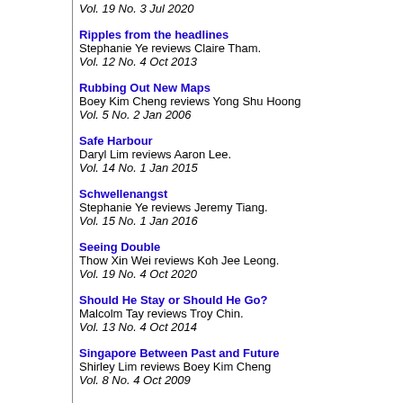Vol. 19 No. 3 Jul 2020
Ripples from the headlines
Stephanie Ye reviews Claire Tham.
Vol. 12 No. 4 Oct 2013
Rubbing Out New Maps
Boey Kim Cheng reviews Yong Shu Hoong
Vol. 5 No. 2 Jan 2006
Safe Harbour
Daryl Lim reviews Aaron Lee.
Vol. 14 No. 1 Jan 2015
Schwellenangst
Stephanie Ye reviews Jeremy Tiang.
Vol. 15 No. 1 Jan 2016
Seeing Double
Thow Xin Wei reviews Koh Jee Leong.
Vol. 19 No. 4 Oct 2020
Should He Stay or Should He Go?
Malcolm Tay reviews Troy Chin.
Vol. 13 No. 4 Oct 2014
Singapore Between Past and Future
Shirley Lim reviews Boey Kim Cheng
Vol. 8 No. 4 Oct 2009